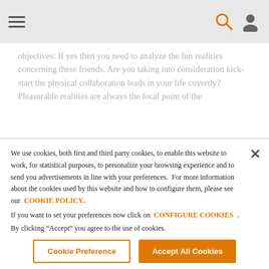[Navigation bar with hamburger menu, search icon, and user icon]
objectives: If yes then you need to analyze the fun realities concerning these friends. Are you taking into consideration kick-start the physical collaboration leads in your life covertly? Pleasurable realities are always the focal point of the
We use cookies, both first and third party cookies, to enable this website to work, for statistical purposes, to personalize your browsing experience and to send you advertisements in line with your preferences. For more information about the cookies used by this website and how to configure them, please see our COOKIE POLICY. If you want to set your preferences now click on CONFIGURE COOKIES . By clicking “Accept” you agree to the use of cookies.